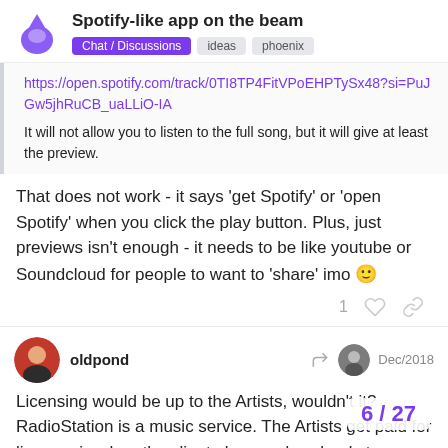Spotify-like app on the beam
Chat / Discussions  ideas  phoenix
https://open.spotify.com/track/0TI8TP4FitVPoEHPTySx48?si=PuJGw5jhRuCB_uaLLiO-IA
It will not allow you to listen to the full song, but it will give at least the preview.
That does not work - it says 'get Spotify' or 'open Spotify' when you click the play button. Plus, just previews isn't enough - it needs to be like youtube or Soundcloud for people to want to 'share' imo 🙂
1
oldpond  Dec/2018
Licensing would be up to the Artists, wouldn't it? RadioStation is a music service. The Artists get paid for lis... again when the client plays or downloads t...
6 / 27